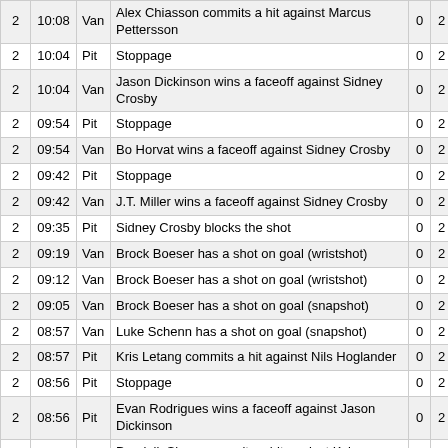| 2 | 10:08 | Van | Alex Chiasson commits a hit against Marcus Pettersson | 0 | 2 |
| 2 | 10:04 | Pit | Stoppage | 0 | 2 |
| 2 | 10:04 | Van | Jason Dickinson wins a faceoff against Sidney Crosby | 0 | 2 |
| 2 | 09:54 | Pit | Stoppage | 0 | 2 |
| 2 | 09:54 | Van | Bo Horvat wins a faceoff against Sidney Crosby | 0 | 2 |
| 2 | 09:42 | Pit | Stoppage | 0 | 2 |
| 2 | 09:42 | Van | J.T. Miller wins a faceoff against Sidney Crosby | 0 | 2 |
| 2 | 09:35 | Pit | Sidney Crosby blocks the shot | 0 | 2 |
| 2 | 09:19 | Van | Brock Boeser has a shot on goal (wristshot) | 0 | 2 |
| 2 | 09:12 | Van | Brock Boeser has a shot on goal (wristshot) | 0 | 2 |
| 2 | 09:05 | Van | Brock Boeser has a shot on goal (snapshot) | 0 | 2 |
| 2 | 08:57 | Van | Luke Schenn has a shot on goal (snapshot) | 0 | 2 |
| 2 | 08:57 | Pit | Kris Letang commits a hit against Nils Hoglander | 0 | 2 |
| 2 | 08:56 | Pit | Stoppage | 0 | 2 |
| 2 | 08:56 | Pit | Evan Rodrigues wins a faceoff against Jason Dickinson | 0 | 2 |
| 2 | 08:35 | Pit | Dominik Simon commits a hit against Kyle Burroughs | 0 | 2 |